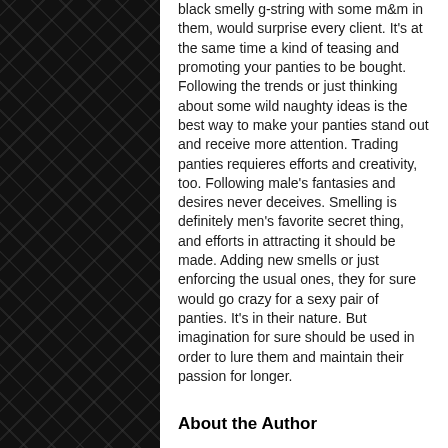black smelly g-string with some m&m in them, would surprise every client. It's at the same time a kind of teasing and promoting your panties to be bought. Following the trends or just thinking about some wild naughty ideas is the best way to make your panties stand out and receive more attention. Trading panties requieres efforts and creativity, too. Following male's fantasies and desires never deceives. Smelling is definitely men's favorite secret thing, and efforts in attracting it should be made. Adding new smells or just enforcing the usual ones, they for sure would go crazy for a sexy pair of panties. It's in their nature. But imagination for sure should be used in order to lure them and maintain their passion for longer.
About the Author